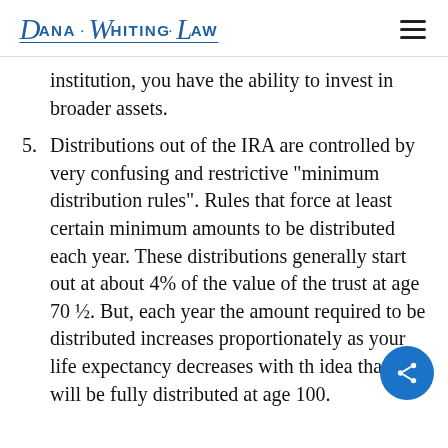Dana Whiting Law
institution, you have the ability to invest in broader assets.
5. Distributions out of the IRA are controlled by very confusing and restrictive “minimum distribution rules”.  Rules that force at least certain minimum amounts to be distributed each year.  These distributions generally start out at about 4% of the value of the trust at age 70 ½. But, each year the amount required to be distributed increases proportionately as your life expectancy decreases with the idea that it will be fully distributed at age 100.